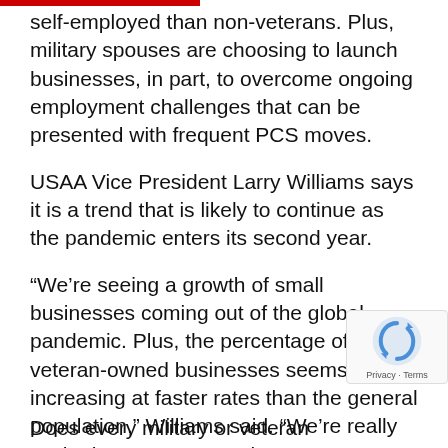self-employed than non-veterans. Plus, military spouses are choosing to launch businesses, in part, to overcome ongoing employment challenges that can be presented with frequent PCS moves.
USAA Vice President Larry Williams says it is a trend that is likely to continue as the pandemic enters its second year.
“We’re seeing a growth of small businesses coming out of the global pandemic. Plus, the percentage of veteran-owned businesses seems to be increasing at faster rates than the general population,” Williams said. “We’re really excited as we go toward our next 100 years to have launched these new small business policies. We’re leaning into our mission of offering a full suite of competitive products for military.”
Does every military or veteran entrepreneur need